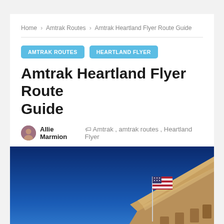Home > Amtrak Routes > Amtrak Heartland Flyer Route Guide
AMTRAK ROUTES
HEARTLAND FLYER
Amtrak Heartland Flyer Route Guide
Allie Marmion   Amtrak , amtrak routes , Heartland Flyer
[Figure (photo): Photograph of a building corner against a deep blue sky with an American flag visible]